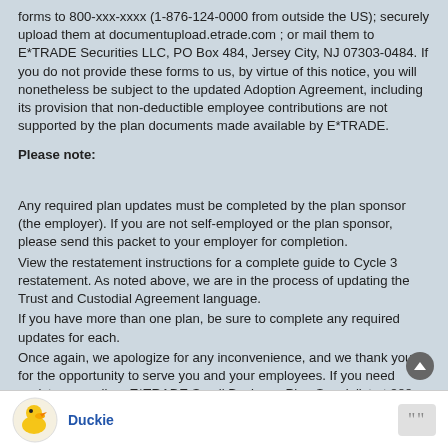forms to 800-xxx-xxxx (1-876-124-0000 from outside the US); securely upload them at documentupload.etrade.com ; or mail them to E*TRADE Securities LLC, PO Box 484, Jersey City, NJ 07303-0484. If you do not provide these forms to us, by virtue of this notice, you will nonetheless be subject to the updated Adoption Agreement, including its provision that non-deductible employee contributions are not supported by the plan documents made available by E*TRADE.
Please note:
Any required plan updates must be completed by the plan sponsor (the employer). If you are not self-employed or the plan sponsor, please send this packet to your employer for completion.
View the restatement instructions for a complete guide to Cycle 3 restatement. As noted above, we are in the process of updating the Trust and Custodial Agreement language.
If you have more than one plan, be sure to complete any required updates for each.
Once again, we apologize for any inconvenience, and we thank you for the opportunity to serve you and your employees. If you need assistance, call an E*TRADE Small Business Plan Specialist at 888-402-0654, weekdays from 7 a.m. to 8 p.m. ET.
Duckie